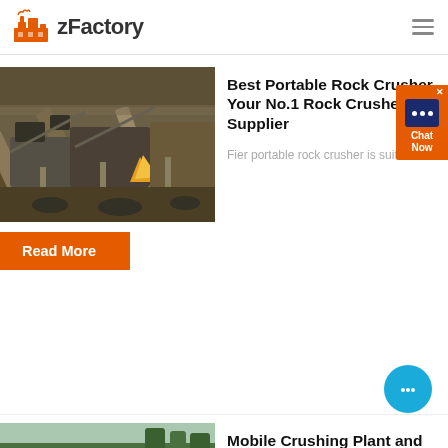zFactory
[Figure (photo): Industrial rock crushing and screening plant with conveyor belts and machinery]
Best Portable Rock Crusher, Your No.1 Rock Crusher Supplier
Fier portable rock crusher is suit...
Read More
[Figure (photo): Mobile crushing plant with excavator and large rocks in a forest clearing]
Mobile Crushing Plant and Screening Plant - Large